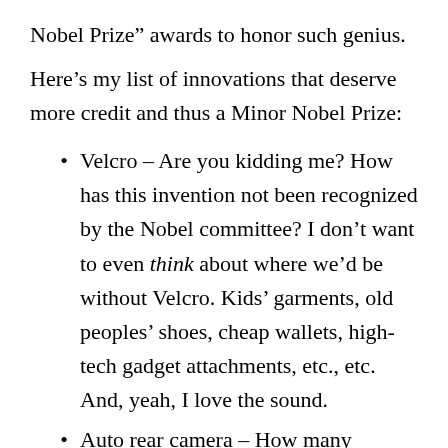Nobel Prize” awards to honor such genius.
Here’s my list of innovations that deserve more credit and thus a Minor Nobel Prize:
Velcro – Are you kidding me? How has this invention not been recognized by the Nobel committee? I don’t want to even think about where we’d be without Velcro. Kids’ garments, old peoples’ shoes, cheap wallets, high-tech gadget attachments, etc., etc. And, yeah, I love the sound.
Auto rear camera – How many parking lot